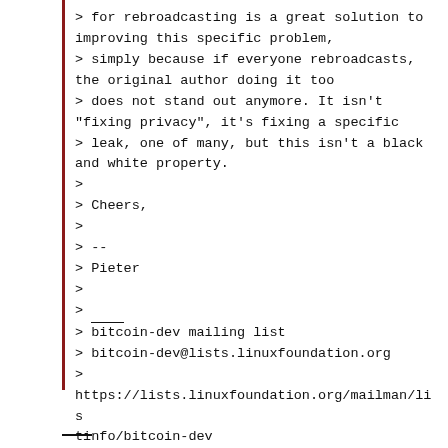> for rebroadcasting is a great solution to improving this specific problem,
> simply because if everyone rebroadcasts, the original author doing it too
> does not stand out anymore. It isn't "fixing privacy", it's fixing a specific
> leak, one of many, but this isn't a black and white property.
>
> Cheers,
>
> --
> Pieter
>
> ____
> bitcoin-dev mailing list
> bitcoin-dev@lists.linuxfoundation.org
>
https://lists.linuxfoundation.org/mailman/listinfo/bitcoin-dev